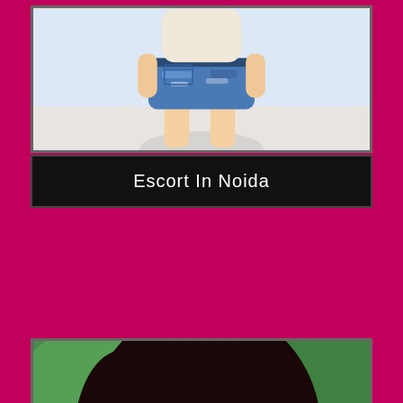[Figure (photo): Photo of a person wearing denim shorts, partial view from shoulders down, light background]
Escort In Noida
[Figure (photo): Portrait photo of a young woman with long dark hair, looking sideways, outdoor blurred green background]